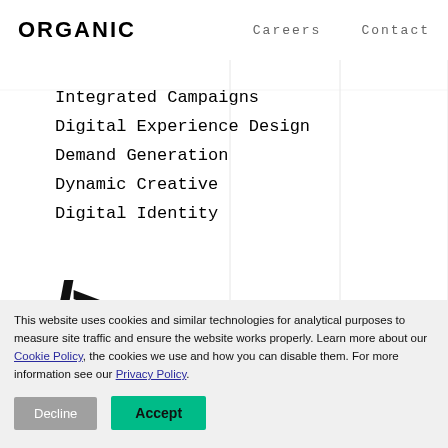ORGANIC   Careers   Contact
Integrated Campaigns
Digital Experience Design
Demand Generation
Dynamic Creative
Digital Identity
[Figure (other): Large code-like symbol /> rendered in bold black text]
This website uses cookies and similar technologies for analytical purposes to measure site traffic and ensure the website works properly. Learn more about our Cookie Policy, the cookies we use and how you can disable them. For more information see our Privacy Policy.
Decline   Accept